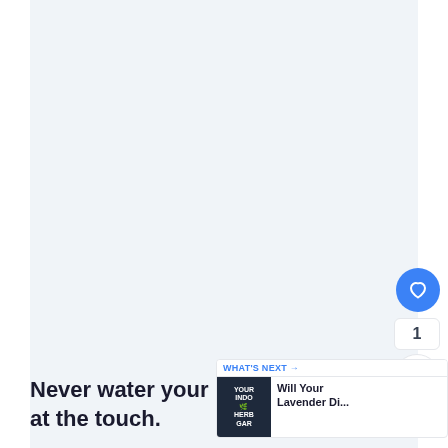[Figure (screenshot): Light blue-gray content area background, large blank space representing a web page article image placeholder]
Never water your lavender if the soil is moist at the touch.
[Figure (infographic): WHAT'S NEXT → Will Your Lavender Di... panel with YOUR INDO HERB GARD thumbnail]